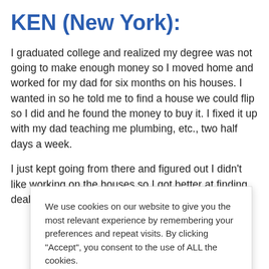KEN (New York):
I graduated college and realized my degree was not going to make enough money so I moved home and worked for my dad for six months on his houses. I wanted in so he told me to find a house we could flip so I did and he found the money to buy it. I fixed it up with my dad teaching me plumbing, etc., two half days a week.
I just kept going from there and figured out I didn’t like working on the houses so I got better at finding deals and
We use cookies on our website to give you the most relevant experience by remembering your preferences and repeat visits. By clicking “Accept”, you consent to the use of ALL the cookies.
Do not sell my personal information.
Cookie settings  ACCEPT
[Figure (logo): TrustedSite Certified Secure badge with green checkmark]